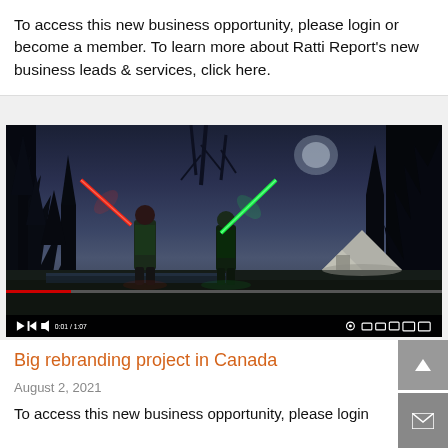To access this new business opportunity, please login or become a member. To learn more about Ratti Report's new business leads & services, click here.
[Figure (screenshot): Video player screenshot showing two people with lightsabers (one red, one green) at a campsite at night with a tent in the background. Video controls visible at the bottom.]
Big rebranding project in Canada
August 2, 2021
To access this new business opportunity, please login